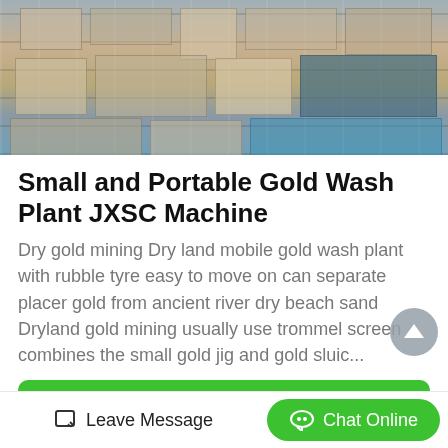[Figure (photo): Aerial view of industrial or urban buildings with rooftops visible from above]
Small and Portable Gold Wash Plant JXSC Machine
Dry gold mining Dry land mobile gold wash plant with rubble tyre easy to move on can separate placer gold from ancient river dry beach sand Dryland gold mining usually use trommel screen combines the small gold jig and gold sluic...
Get Price
[Figure (photo): Exterior of a white industrial building with windows and cylindrical silos/tanks]
Leave Message   Chat Online